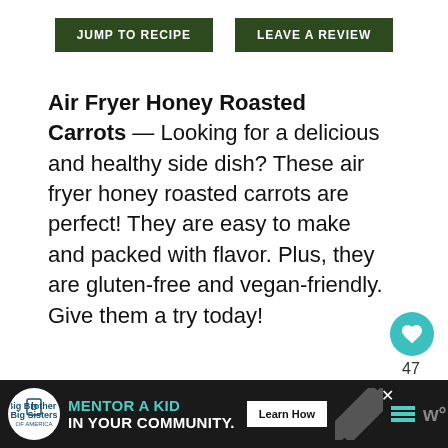JUMP TO RECIPE
LEAVE A REVIEW
Air Fryer Honey Roasted Carrots — Looking for a delicious and healthy side dish? These air fryer honey roasted carrots are perfect! They are easy to make and packed with flavor. Plus, they are gluten-free and vegan-friendly. Give them a try today!
[Figure (photo): Close-up photo of honey roasted carrots, golden brown color]
[Figure (infographic): Advertisement banner: Big Brothers Big Sisters logo, text MENTOR A KID IN YOUR COMMUNITY with Learn How button]